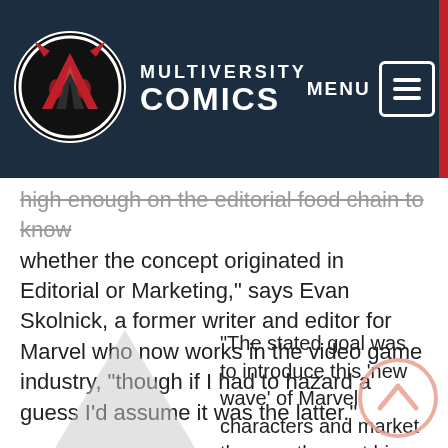Multiversity Comics — MENU [navigation]
high enough on the editorial food chain to know whether the concept originated in Editorial or Marketing," says Evan Skolnick, a former writer and editor for Marvel who now works in the video game industry, "though if I had to hazard a guess I'd assume it was the latter."
“The stated goal was to introduce this ‘new wave’ of Marvel characters and market them as the next big thing,” Skolnick continues. “Kind of like throwing a